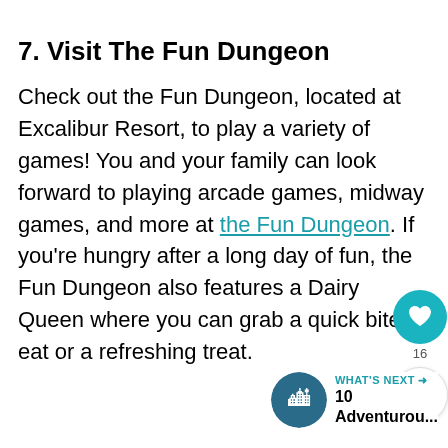7. Visit The Fun Dungeon
Check out the Fun Dungeon, located at Excalibur Resort, to play a variety of games! You and your family can look forward to playing arcade games, midway games, and more at the Fun Dungeon. If you're hungry after a long day of fun, the Fun Dungeon also features a Dairy Queen where you can grab a quick bite to eat or a refreshing treat.